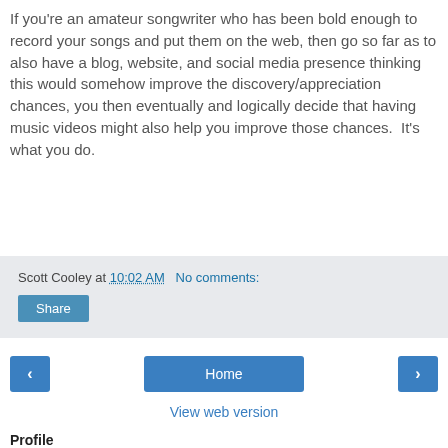If you're an amateur songwriter who has been bold enough to record your songs and put them on the web, then go so far as to also have a blog, website, and social media presence thinking this would somehow improve the discovery/appreciation chances, you then eventually and logically decide that having music videos might also help you improve those chances.  It's what you do.
Scott Cooley at 10:02 AM   No comments:
Share
< Home >
View web version
Profile